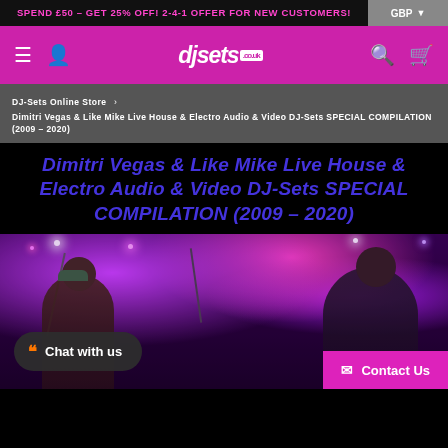SPEND £50 – GET 25% OFF! 2-4-1 OFFER FOR NEW CUSTOMERS!
[Figure (logo): djsets.co.uk logo on magenta navigation bar with hamburger menu, user icon, search icon and cart icon]
DJ-Sets Online Store > Dimitri Vegas & Like Mike Live House & Electro Audio & Video DJ-Sets SPECIAL COMPILATION (2009 – 2020)
Dimitri Vegas & Like Mike Live House & Electro Audio & Video DJ-Sets SPECIAL COMPILATION (2009 – 2020)
[Figure (photo): DJ performers on stage under purple and pink stage lighting]
Chat with us
Contact Us